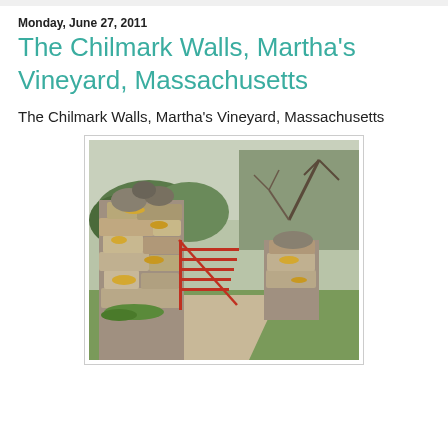Monday, June 27, 2011
The Chilmark Walls, Martha's Vineyard, Massachusetts
The Chilmark Walls, Martha's Vineyard, Massachusetts
[Figure (photo): Photograph of a dry stone wall gate post with stacked granite/limestone rocks covered in yellow-orange lichen, flanking a red wooden farm gate. Trees with bare branches visible in background, green grass and gravel path in foreground. Martha's Vineyard, Massachusetts.]